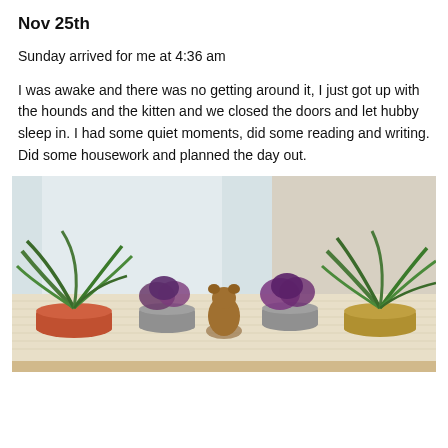Nov 25th
Sunday arrived for me at 4:36 am
I was awake and there was no getting around it, I just got up with the hounds and the kitten and we closed the doors and let hubby sleep in. I had some quiet moments, did some reading and writing. Did some housework and planned the day out.
[Figure (photo): A table covered with a woven/lace tablecloth near a window with sheer curtains. On the table sit several potted plants (spider plants in an orange/terracotta pot and a gold pot, and purple flowering plants in grey pots) and a small bronze/gold bear figurine in the center.]